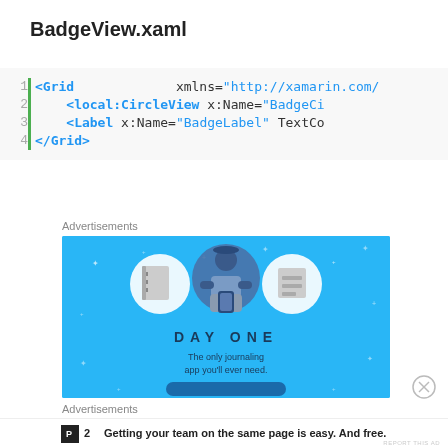BadgeView.xaml
[Figure (screenshot): Code snippet showing XAML with Grid, local:CircleView, Label, and /Grid tags with line numbers 1-4 and green vertical bar]
Advertisements
[Figure (illustration): Day One journaling app advertisement with teal background showing a person with notebook and list icons, text: DAY ONE - The only journaling app you'll ever need.]
Advertisements
[Figure (logo): P2 logo advertisement: Getting your team on the same page is easy. And free.]